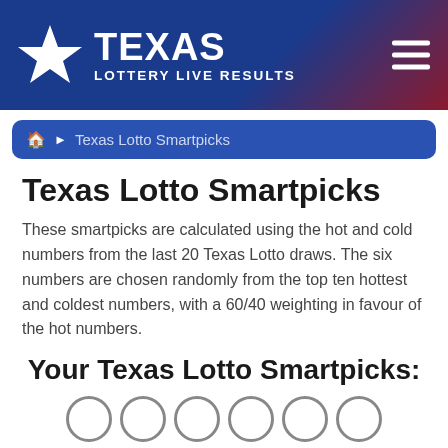[Figure (logo): Texas Lottery Live Results header with star logo, bold TEXAS text, LOTTERY LIVE RESULTS subtitle, and hamburger menu icon on blue-to-red gradient background]
🏠 ► Texas Lotto Smartpicks
Texas Lotto Smartpicks
These smartpicks are calculated using the hot and cold numbers from the last 20 Texas Lotto draws. The six numbers are chosen randomly from the top ten hottest and coldest numbers, with a 60/40 weighting in favour of the hot numbers.
Your Texas Lotto Smartpicks:
[Figure (illustration): Row of six empty lottery ball circles partially visible at bottom of page]